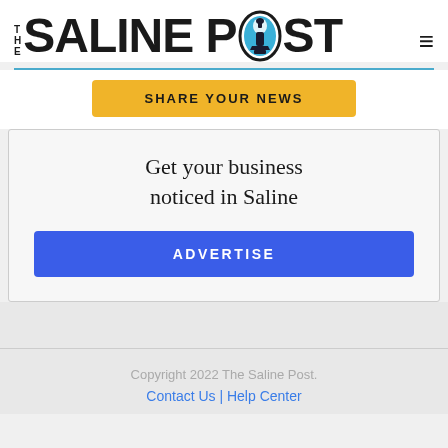THE SALINE POST
[Figure (logo): The Saline Post newspaper logo with lamp post icon inside the letter O]
SHARE YOUR NEWS
Get your business noticed in Saline
ADVERTISE
Copyright 2022 The Saline Post. Contact Us | Help Center